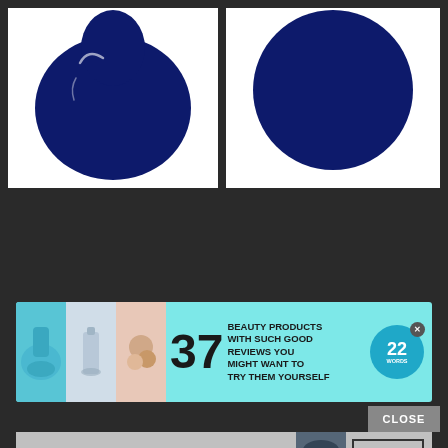[Figure (illustration): Two navy blue color swatches side by side on white backgrounds: left is a nail polish drop/blob shape, right is a circular dot. Both are dark navy blue (#0d1a6b). Separated by dark divider on dark background.]
[Figure (other): Advertisement banner: '37 BEAUTY PRODUCTS WITH SUCH GOOD REVIEWS YOU MIGHT WANT TO TRY THEM YOURSELF' with product photos and 22 Words badge logo, on cyan/teal background.]
[Figure (other): Bloomingdale's advertisement: 'bloomingdales View Today's Top Deals!' with model in hat and 'SHOP NOW >' button.]